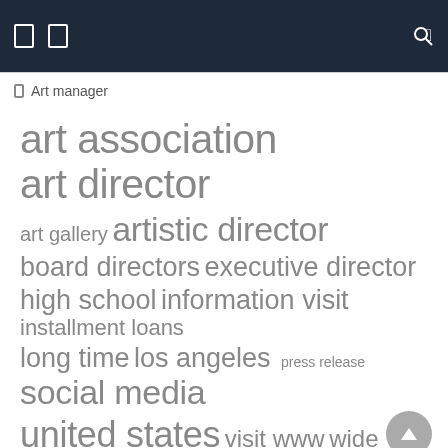Art manager
[Figure (other): Tag cloud with terms related to art management. Terms include: art association, art director (largest), artistic director (large), art gallery, board directors, executive director, high school, information visit, installment loans, long time, los angeles, press release (small), social media (large), united states, visit www, wide range, works art]
art association  art director  art gallery  artistic director  board directors  executive director  high school  information visit  installment loans  long time  los angeles  press release  social media  united states  visit www  wide range  works art